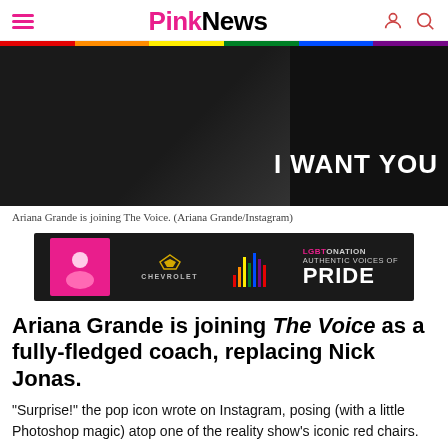PinkNews
[Figure (photo): Dark concert/stage photo with text 'I WANT YOU' illuminated in white on a dark background. People visible on left side.]
Ariana Grande is joining The Voice. (Ariana Grande/Instagram)
[Figure (other): Advertisement banner: Chevrolet and LGBTNATION – Authentic Voices of PRIDE on dark background with colorful bar graph icon and woman in pink on the left.]
Ariana Grande is joining The Voice as a fully-fledged coach, replacing Nick Jonas.
"Surprise!" the pop icon wrote on Instagram, posing (with a little Photoshop magic) atop one of the reality show's iconic red chairs.